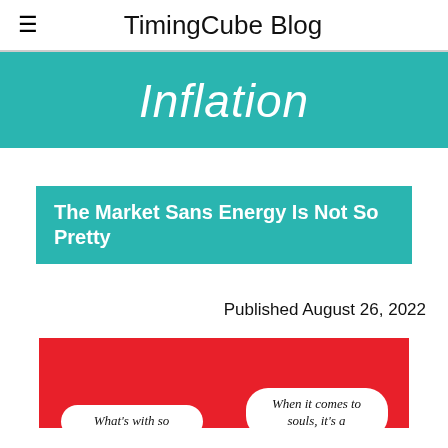TimingCube Blog
Inflation
The Market Sans Energy Is Not So Pretty
Published August 26, 2022
[Figure (illustration): Comic strip panel with red background showing two speech bubbles. Left bubble reads 'What’s with so' and right bubble reads 'When it comes to souls, it’s a']